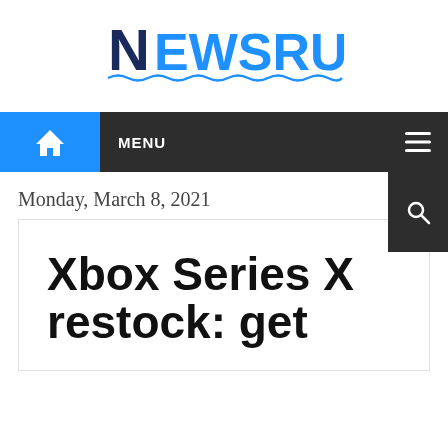[Figure (logo): Newsrust logo with stylized N and wavy underline in blue and dark navy]
MENU
Monday, March 8, 2021
Xbox Series X restock: get